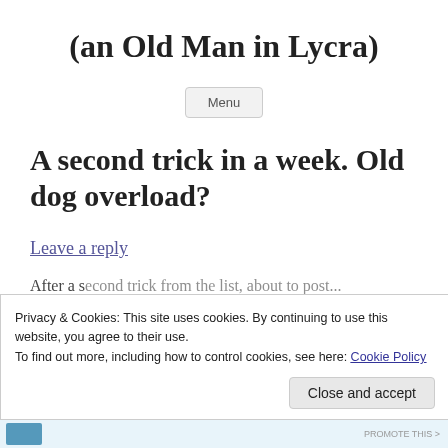(an Old Man in Lycra)
Menu
A second trick in a week. Old dog overload?
Leave a reply
Privacy & Cookies: This site uses cookies. By continuing to use this website, you agree to their use.
To find out more, including how to control cookies, see here: Cookie Policy
Close and accept